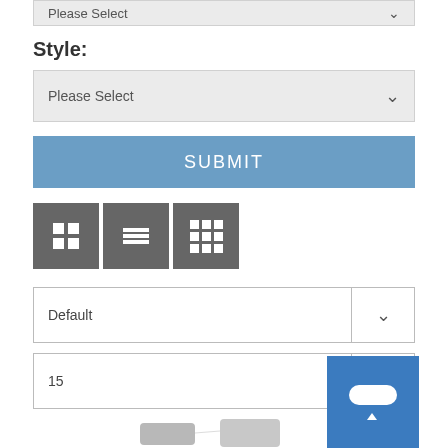Please Select
Style:
Please Select
SUBMIT
[Figure (screenshot): Three view toggle buttons (grid, list, table) in dark gray]
Default
15
[Figure (photo): Metal bracket hardware product photo, partially visible at bottom of page]
[Figure (other): Blue chat/support button widget in bottom right corner]